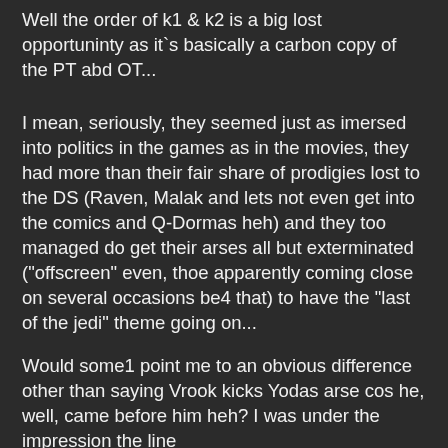Well the order of k1 & k2 is a big lost opportuninty as it`s basically a carbon copy of the PT abd OT...
I mean, seriously, they seemed just as imersed into politics in the games as in the movies, they had more than their fair share of prodigies lost to the DS (Raven, Malak and lets not even get into the comics and Q-Dormas heh) and they too managed do get their arses all but exterminated ("offscreen" even, thoe apparently coming close on several occasions be4 that) to have the "last of the jedi" theme going on...
Would some1 point me to an obvious difference other than saying Vrook kicks Yodas arse cos he, well, came before him heh? I was under the impression the line